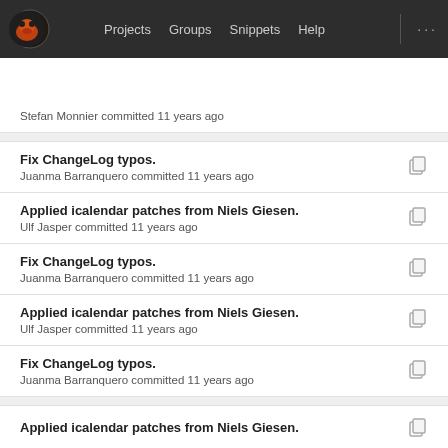Projects  Groups  Snippets  Help
Stefan Monnier committed 11 years ago
Fix ChangeLog typos.
Juanma Barranquero committed 11 years ago
Applied icalendar patches from Niels Giesen.
Ulf Jasper committed 11 years ago
Fix ChangeLog typos.
Juanma Barranquero committed 11 years ago
Applied icalendar patches from Niels Giesen.
Ulf Jasper committed 11 years ago
Fix ChangeLog typos.
Juanma Barranquero committed 11 years ago
Applied icalendar patches from Niels Giesen.